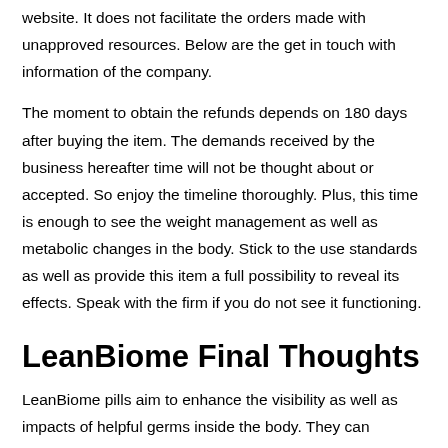website. It does not facilitate the orders made with unapproved resources. Below are the get in touch with information of the company.
The moment to obtain the refunds depends on 180 days after buying the item. The demands received by the business hereafter time will not be thought about or accepted. So enjoy the timeline thoroughly. Plus, this time is enough to see the weight management as well as metabolic changes in the body. Stick to the use standards as well as provide this item a full possibility to reveal its effects. Speak with the firm if you do not see it functioning.
LeanBiome Final Thoughts
LeanBiome pills aim to enhance the visibility as well as impacts of helpful germs inside the body. They can improve food absorption, digestion, and application to create power, without fat accumulation